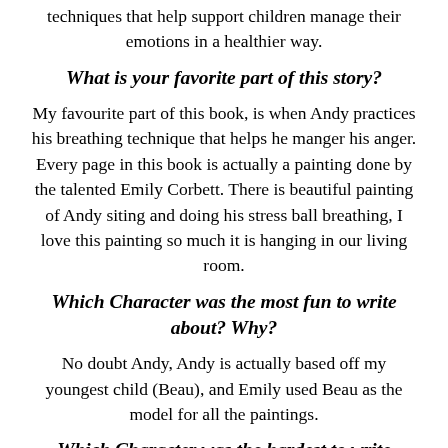techniques that help support children manage their emotions in a healthier way.
What is your favorite part of this story?
My favourite part of this book, is when Andy practices his breathing technique that helps he manger his anger. Every page in this book is actually a painting done by the talented Emily Corbett. There is beautiful painting of Andy siting and doing his stress ball breathing, I love this painting so much it is hanging in our living room.
Which Character was the most fun to write about? Why?
No doubt Andy, Andy is actually based off my youngest child (Beau), and Emily used Beau as the model for all the paintings.
Which Character was the hardest to write